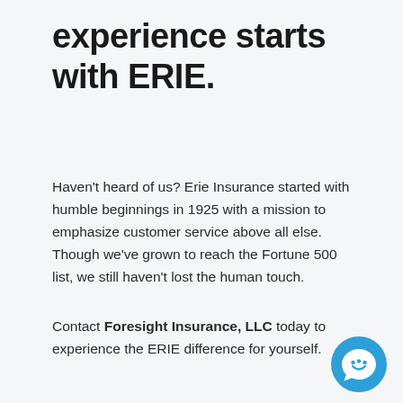experience starts with ERIE.
Haven't heard of us? Erie Insurance started with humble beginnings in 1925 with a mission to emphasize customer service above all else. Though we've grown to reach the Fortune 500 list, we still haven't lost the human touch.
Contact Foresight Insurance, LLC today to experience the ERIE difference for yourself.
[Figure (illustration): Blue circular chat/message bubble icon in the bottom-right corner]